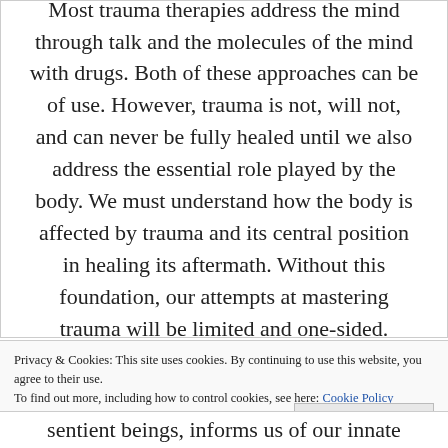Most trauma therapies address the mind through talk and the molecules of the mind with drugs. Both of these approaches can be of use. However, trauma is not, will not, and can never be fully healed until we also address the essential role played by the body. We must understand how the body is affected by trauma and its central position in healing its aftermath. Without this foundation, our attempts at mastering trauma will be limited and one-sided.
Privacy & Cookies: This site uses cookies. By continuing to use this website, you agree to their use. To find out more, including how to control cookies, see here: Cookie Policy
Close and accept
sentient beings, informs us of our innate